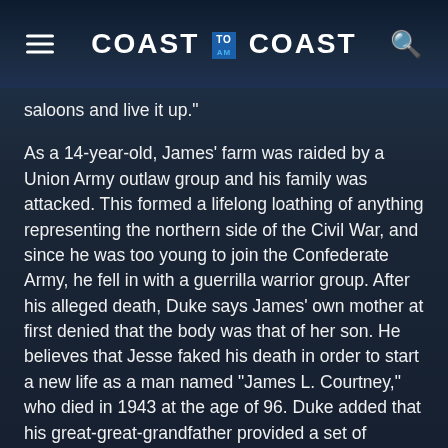COAST TO AM COAST
saloons and live it up."
As a 14-year-old, James' farm was raided by a Union Army outlaw group and his family was attacked. This formed a lifelong loathing of anything representing the northern side of the Civil War, and since he was too young to join the Confederate Army, he fell in with a guerrilla warrior group. After his alleged death, Duke says James' own mother at first denied that the body was that of her son. He believes that Jesse faked his death in order to start a new life as a man named "James L. Courtney," who died in 1943 at the age of 96. Duke added that his great-great-grandfather provided a set of instructions to find secret caches hidden treasure, which he says rightly belong to the Freemasons and the Knights Templar. He claims that James was a member and descendant of their traditions. "It's like The